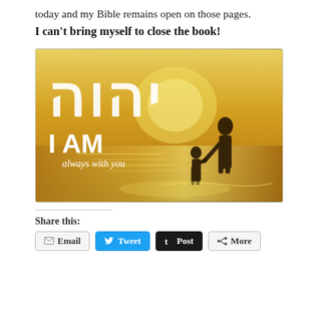today and my Bible remains open on those pages.
I can't bring myself to close the book!
[Figure (illustration): Religious inspirational image with a golden sunset beach scene. Hebrew letters (YHWH/Yahweh) in large white text overlay the top portion. Silhouettes of an adult and child holding hands walking on the beach. Text overlay reads 'I AM' in large white letters and 'always with you' in smaller white italic text below.]
Share this:
Email
Tweet
Post
More